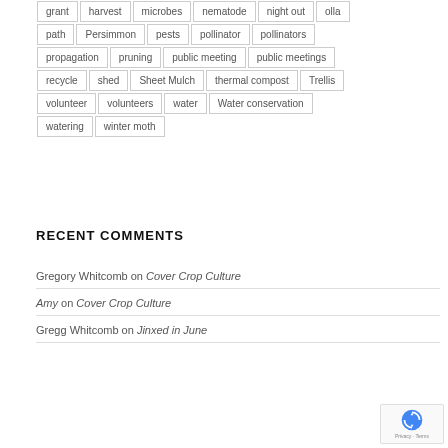grant | harvest | microbes | nematode | night out | olla
path | Persimmon | pests | pollinator | pollinators
propagation | pruning | public meeting | public meetings
recycle | shed | Sheet Mulch | thermal compost | Trellis
volunteer | volunteers | water | Water conservation
watering | winter moth
RECENT COMMENTS
Gregory Whitcomb on Cover Crop Culture
Amy on Cover Crop Culture
Gregg Whitcomb on Jinxed in June